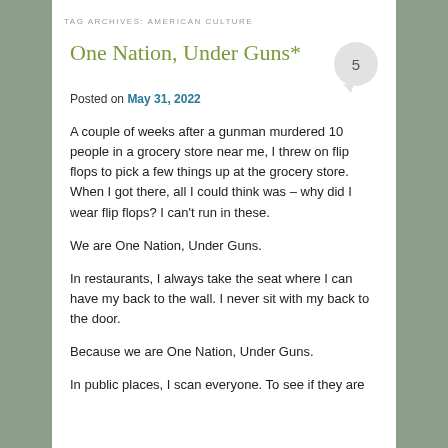TAG ARCHIVES: AMERICAN CULTURE
One Nation, Under Guns*
Posted on May 31, 2022
A couple of weeks after a gunman murdered 10 people in a grocery store near me, I threw on flip flops to pick a few things up at the grocery store. When I got there, all I could think was – why did I wear flip flops? I can't run in these.
We are One Nation, Under Guns.
In restaurants, I always take the seat where I can have my back to the wall. I never sit with my back to the door.
Because we are One Nation, Under Guns.
In public places, I scan everyone. To see if they are